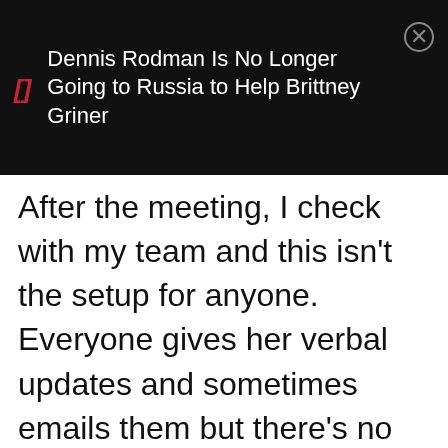[Figure (screenshot): Mobile notification banner with dark background showing headline: 'Dennis Rodman Is No Longer Going to Russia to Help Brittney Griner' with a red bracket icon on left and close button on right]
After the meeting, I check with my team and this isn't the setup for anyone. Everyone gives her verbal updates and sometimes emails them but there's no real rule for it to be in an email every time.
So I decided to follow her policies as she stated.